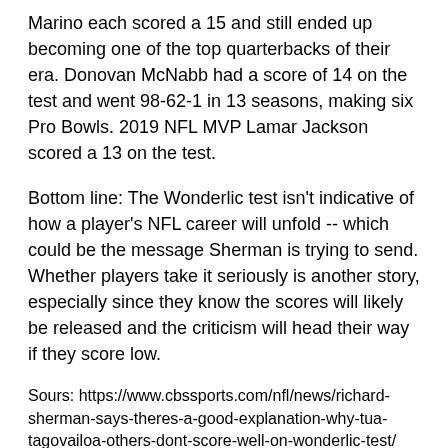Marino each scored a 15 and still ended up becoming one of the top quarterbacks of their era. Donovan McNabb had a score of 14 on the test and went 98-62-1 in 13 seasons, making six Pro Bowls. 2019 NFL MVP Lamar Jackson scored a 13 on the test.
Bottom line: The Wonderlic test isn't indicative of how a player's NFL career will unfold -- which could be the message Sherman is trying to send. Whether players take it seriously is another story, especially since they know the scores will likely be released and the criticism will head their way if they score low.
Sours: https://www.cbssports.com/nfl/news/richard-sherman-says-theres-a-good-explanation-why-tua-tagovailoa-others-dont-score-well-on-wonderlic-test/